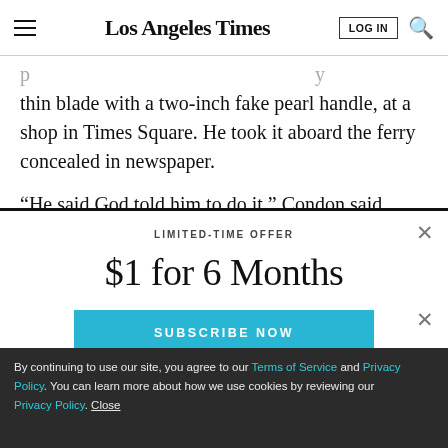Los Angeles Times | LOG IN | [search icon]
thin blade with a two-inch fake pearl handle, at a shop in Times Square. He took it aboard the ferry concealed in newspaper.
“He said God told him to do it,” Condon said
LIMITED-TIME OFFER
$1 for 6 Months
SUBSCRIBE NOW
By continuing to use our site, you agree to our Terms of Service and Privacy Policy. You can learn more about how we use cookies by reviewing our Privacy Policy. Close